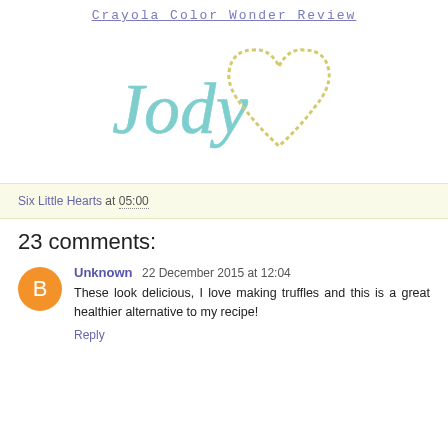Crayola Color Wonder Review
[Figure (illustration): Handwritten signature 'Jody' in teal cursive script alongside a hand-drawn yellow heart outline]
Six Little Hearts at 05:00
23 comments:
Unknown  22 December 2015 at 12:04
These look delicious, I love making truffles and this is a great healthier alternative to my recipe!
Reply